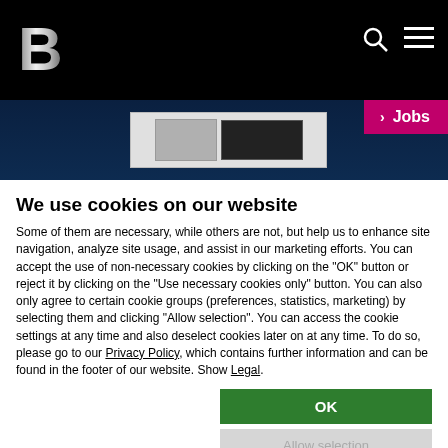[Figure (screenshot): Website navigation bar with black background, silver B logo on left, search and hamburger menu icons on right]
[Figure (screenshot): Dark blue hero banner with a small white product image box, and a pink/magenta Jobs badge on the right]
We use cookies on our website
Some of them are necessary, while others are not, but help us to enhance site navigation, analyze site usage, and assist in our marketing efforts. You can accept the use of non-necessary cookies by clicking on the "OK" button or reject it by clicking on the "Use necessary cookies only" button. You can also only agree to certain cookie groups (preferences, statistics, marketing) by selecting them and clicking "Allow selection". You can access the cookie settings at any time and also deselect cookies later on at any time. To do so, please go to our Privacy Policy, which contains further information and can be found in the footer of our website. Show Legal.
OK
Allow selection
Use necessary cookies only
Necessary  Preferences  Statistics  Marketing  Show details